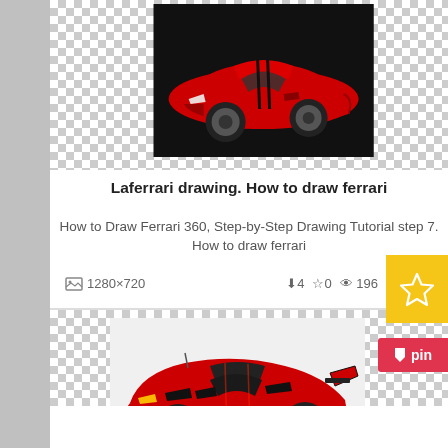[Figure (photo): Red Ferrari car drawing illustration on black background - card 1]
Laferrari drawing. How to draw ferrari
How to Draw Ferrari 360, Step-by-Step Drawing Tutorial step 7. How to draw ferrari
1280×720  ⬇4  ☆0  👁196
[Figure (photo): Red LaFerrari car illustration on white/light background - card 2 with pin button]
Laferrari drawing. How to draw cars
"How To Draw Cars Fast And Easy" book and My Incredible